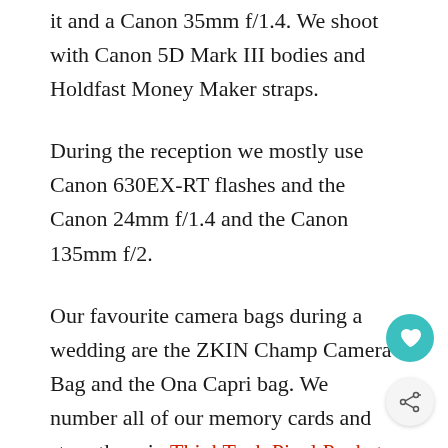it and a Canon 35mm f/1.4. We shoot with Canon 5D Mark III bodies and Holdfast Money Maker straps.
During the reception we mostly use Canon 630EX-RT flashes and the Canon 24mm f/1.4 and the Canon 135mm f/2.
Our favourite camera bags during a wedding are the ZKIN Champ Camera Bag and the Ona Capri bag. We number all of our memory cards and store them in ThinkTank Pixel Pocket Rocket Card Cases.
Shooting in Harsh Conditions:
With Fiji being a hot and humid country we store gear in an airtight container with a dehumidifier to